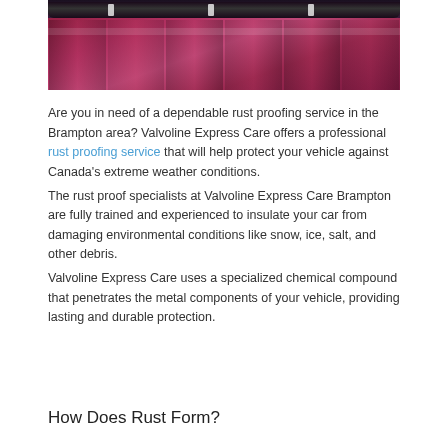[Figure (photo): Photo of a dark cylindrical pipe or bar mounted on red/pink painted wooden fence planks with white bracket mounts]
Are you in need of a dependable rust proofing service in the Brampton area? Valvoline Express Care offers a professional rust proofing service that will help protect your vehicle against Canada’s extreme weather conditions.
The rust proof specialists at Valvoline Express Care Brampton are fully trained and experienced to insulate your car from damaging environmental conditions like snow, ice, salt, and other debris.
Valvoline Express Care uses a specialized chemical compound that penetrates the metal components of your vehicle, providing lasting and durable protection.
How Does Rust Form?